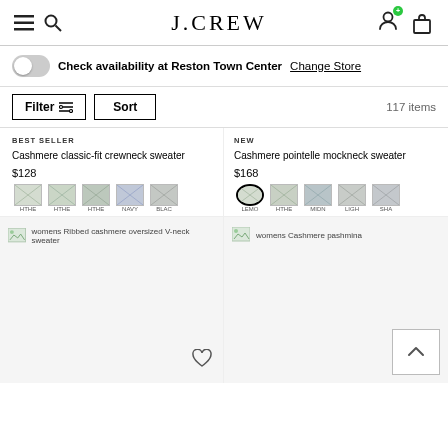[Figure (screenshot): J.Crew website header with hamburger menu, search icon, J.CREW logo, account icon with green notification dot, and shopping bag icon]
Check availability at Reston Town Center  Change Store
Filter  Sort  117 items
BEST SELLER
Cashmere classic-fit crewneck sweater
$128
[Figure (other): Color swatches: HTHE, HTHE, HTHE, NAVY, BLACK]
NEW
Cashmere pointelle mockneck sweater
$168
[Figure (other): Color swatches: LEMON (selected/circled), HTHE, MIDNIGHT, LIGHT, SHALE]
[Figure (photo): womens Ribbed cashmere oversized V-neck sweater product thumbnail with heart icon]
[Figure (photo): womens Cashmere pashmina product thumbnail with heart icon]